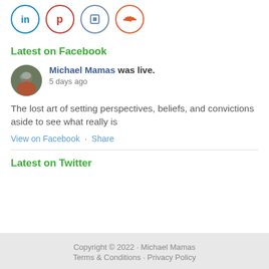[Figure (other): Four social media icon circles: LinkedIn (blue), Pinterest (red), a square icon (blue/grey), SoundCloud (orange-red)]
Latest on Facebook
[Figure (photo): Circular avatar photo of Michael Mamas]
Michael Mamas was live. 5 days ago
The lost art of setting perspectives, beliefs, and convictions aside to see what really is
View on Facebook · Share
Latest on Twitter
Copyright © 2022 · Michael Mamas
Terms & Conditions · Privacy Policy